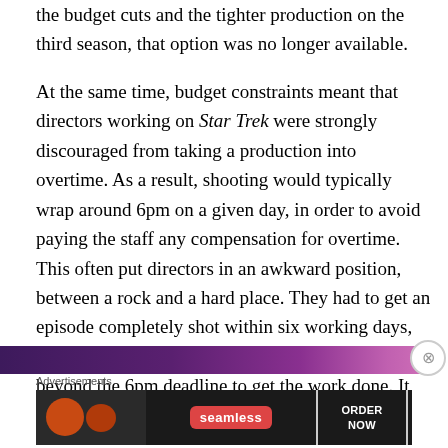the budget cuts and the tighter production on the third season, that option was no longer available.
At the same time, budget constraints meant that directors working on Star Trek were strongly discouraged from taking a production into overtime. As a result, shooting would typically wrap around 6pm on a given day, in order to avoid paying the staff any compensation for overtime. This often put directors in an awkward position, between a rock and a hard place. They had to get an episode completely shot within six working days, but none of those working days could stretch beyond the 6pm deadline to get the work done. It was madness.
[Figure (photo): Partial image strip showing a purple/magenta toned photo at the bottom of the article, partially obscured by an advertisement overlay.]
Advertisements
[Figure (screenshot): Seamless food delivery advertisement banner featuring pizza image on the left, Seamless logo in center, and ORDER NOW button on the right, on a dark background.]